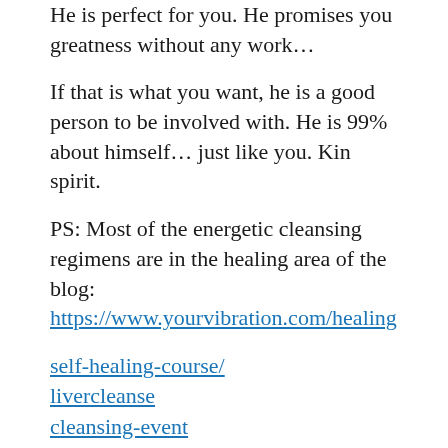He is perfect for you. He promises you greatness without any work…
If that is what you want, he is a good person to be involved with. He is 99% about himself… just like you. Kin spirit.
PS: Most of the energetic cleansing regimens are in the healing area of the blog: https://www.yourvibration.com/healing
self-healing-course/ livercleanse cleansing-event
or yesterday's event recordings… in the subscriber's area, free to members. Membership is free.